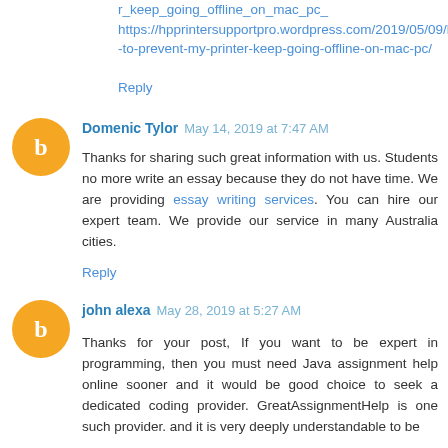r_keep_going_offline_on_mac_pc_ https://hpprintersupportpro.wordpress.com/2019/05/09/how-to-prevent-my-printer-keep-going-offline-on-mac-pc/
Reply
Domenic Tylor May 14, 2019 at 7:47 AM
Thanks for sharing such great information with us. Students no more write an essay because they do not have time. We are providing essay writing services. You can hire our expert team. We provide our service in many Australia cities.
Reply
john alexa May 28, 2019 at 5:27 AM
Thanks for your post, If you want to be expert in programming, then you must need Java assignment help online sooner and it would be good choice to seek a dedicated coding provider. GreatAssignmentHelp is one such provider. and it is very deeply understandable to be